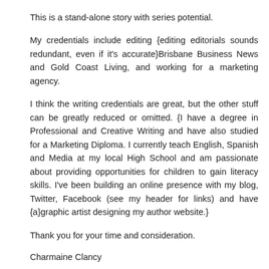This is a stand-alone story with series potential.
My credentials include editing {editing editorials sounds redundant, even if it's accurate}Brisbane Business News and Gold Coast Living, and working for a marketing agency.
I think the writing credentials are great, but the other stuff can be greatly reduced or omitted. {I have a degree in Professional and Creative Writing and have also studied for a Marketing Diploma. I currently teach English, Spanish and Media at my local High School and am passionate about providing opportunities for children to gain literacy skills. I've been building an online presence with my blog, Twitter, Facebook (see my header for links) and have {a}graphic artist designing my author website.}
Thank you for your time and consideration.
Charmaine Clancy
Reply